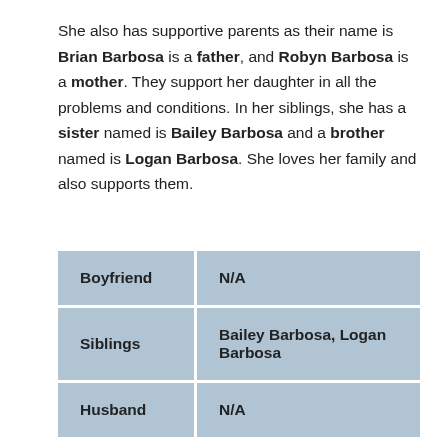She also has supportive parents as their name is Brian Barbosa is a father, and Robyn Barbosa is a mother. They support her daughter in all the problems and conditions. In her siblings, she has a sister named is Bailey Barbosa and a brother named is Logan Barbosa. She loves her family and also supports them.
| Boyfriend | N/A |
| Siblings | Bailey Barbosa, Logan Barbosa |
| Husband | N/A |